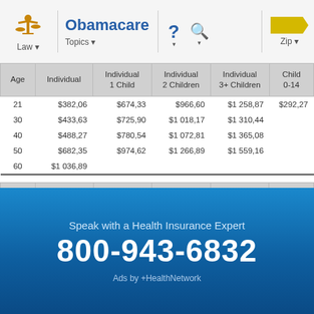Obamacare — Law, Topics, Zip navigation bar
| Age | Individual | Individual 1 Child | Individual 2 Children | Individual 3+ Children | Child 0-14 |
| --- | --- | --- | --- | --- | --- |
| 21 | $382,06 | $674,33 | $966,60 | $1 258,87 | $292,27 |
| 30 | $433,63 | $725,90 | $1 018,17 | $1 310,44 |  |
| 40 | $488,27 | $780,54 | $1 072,81 | $1 365,08 |  |
| 50 | $682,35 | $974,62 | $1 266,89 | $1 559,16 |  |
| 60 | $1 036,89 |  |  |  |  |
| Age | Couple | Couple 1 Child | Couple 2 Chidren | Couple 3+ Children | Child 0-14 |
| --- | --- | --- | --- | --- | --- |
| 21 | $764,12 | $1 056,39 | $1 348,66 | $1 640,93 | $292,27 |
| 30 | $867,26 | $1 159,53 | $1 451,80 | $1 744,07 |  |
| 40 | $976,54 | $1 268,81 | $1 561,08 | $1 853,35 |  |
| 50 | $1 364,70 | $1 656,97 | $1 949,24 | $2 241,51 |  |
Speak with a Health Insurance Expert
800-943-6832
Ads by +HealthNetwork